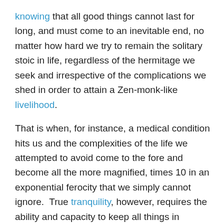knowing that all good things cannot last for long, and must come to an inevitable end, no matter how hard we try to remain the solitary stoic in life, regardless of the hermitage we seek and irrespective of the complications we shed in order to attain a Zen-monk-like livelihood. That is when, for instance, a medical condition hits us and the complexities of the life we attempted to avoid come to the fore and become all the more magnified, times 10 in an exponential ferocity that we simply cannot ignore.  True tranquility, however, requires the ability and capacity to keep all things in perspective, and to resist the temptation to allow for the turmoil to overwhelm us.  Keeping in mind that the concept itself can never be reduced to a mere mathematical equation, the question then becomes: What is the multiplicand, the multiplier, and finally, the product?